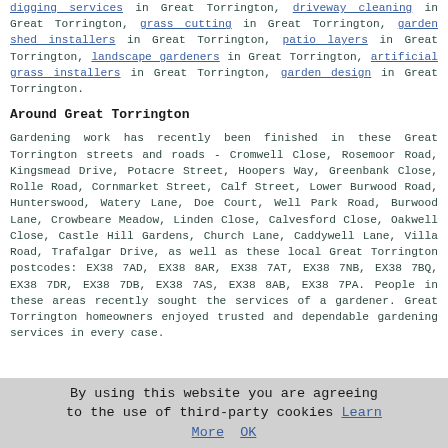digging services in Great Torrington, driveway cleaning in Great Torrington, grass cutting in Great Torrington, garden shed installers in Great Torrington, patio layers in Great Torrington, landscape gardeners in Great Torrington, artificial grass installers in Great Torrington, garden design in Great Torrington.
Around Great Torrington
Gardening work has recently been finished in these Great Torrington streets and roads - Cromwell Close, Rosemoor Road, Kingsmead Drive, Potacre Street, Hoopers Way, Greenbank Close, Rolle Road, Cornmarket Street, Calf Street, Lower Burwood Road, Hunterswood, Watery Lane, Doe Court, Well Park Road, Burwood Lane, Crowbeare Meadow, Linden Close, Calvesford Close, Oakwell Close, Castle Hill Gardens, Church Lane, Caddywell Lane, Villa Road, Trafalgar Drive, as well as these local Great Torrington postcodes: EX38 7AD, EX38 8AR, EX38 7AT, EX38 7NB, EX38 7BQ, EX38 7DR, EX38 7DB, EX38 7AS, EX38 8AB, EX38 7PA. People in these areas recently sought the services of a gardener. Great Torrington homeowners enjoyed trusted and dependable gardening services in every case.
By using this website you are agreeing to the use of third-party cookies Learn More OK